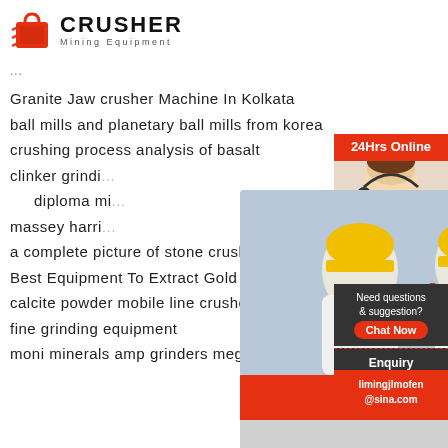[Figure (logo): Crusher Mining Equipment logo with red shopping bag icon and bold text]
...
Granite Jaw crusher Machine In Kolkata
ball mills and planetary ball mills from korea
crushing process analysis of basalt
clinker grindi...
diploma mi...
massey harri...
a complete picture of stone crusher
Best Equipment To Extract Gold From Black S...
calcite powder mobile line crusher
fine grinding equipment
moni minerals amp grinders meghnagar
[Figure (screenshot): Live Chat popup overlay with workers in hard hats, LIVE CHAT heading, Click for a Free Consultation, Chat now and Chat later buttons]
[Figure (infographic): Right sidebar: 24Hrs Online red banner, Need questions & suggestion? with Chat Now button, Enquiry section, limingjlmofen@sina.com contact]